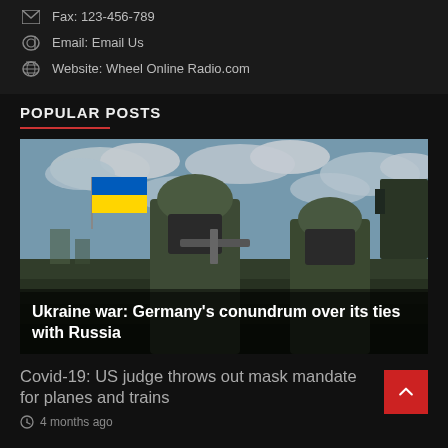Fax: 123-456-789
Email: Email Us
Website: Wheel Online Radio.com
POPULAR POSTS
[Figure (photo): Ukrainian soldiers in military gear holding weapons with the Ukrainian flag visible in the background against a cloudy sky. Overlay text reads: Ukraine war: Germany's conundrum over its ties with Russia]
Ukraine war: Germany's conundrum over its ties with Russia
Covid-19: US judge throws out mask mandate for planes and trains
4 months ago